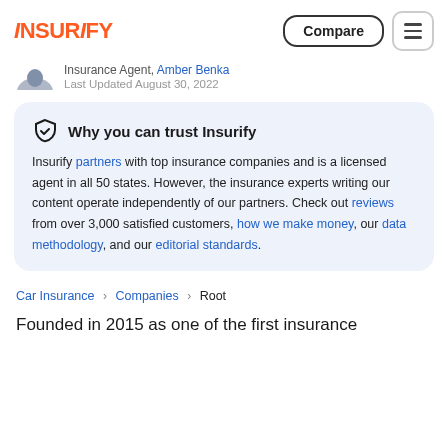INSURIFY | Compare | Menu
Insurance Agent, Amber Benka
Last Updated August 30, 2022
Why you can trust Insurify
Insurify partners with top insurance companies and is a licensed agent in all 50 states. However, the insurance experts writing our content operate independently of our partners. Check out reviews from over 3,000 satisfied customers, how we make money, our data methodology, and our editorial standards.
Car Insurance > Companies > Root
Founded in 2015 as one of the first insurance